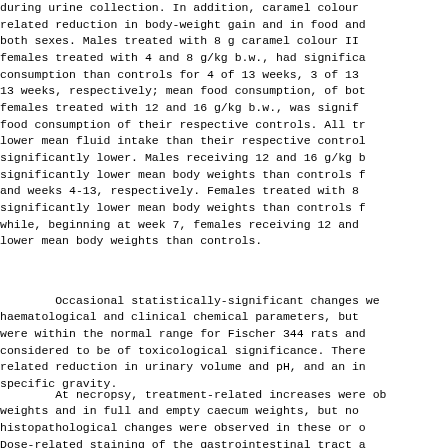during urine collection. In addition, caramel colour-related reduction in body-weight gain and in food and both sexes. Males treated with 8 g caramel colour II females treated with 4 and 8 g/kg b.w., had significa consumption than controls for 4 of 13 weeks, 3 of 13 13 weeks, respectively; mean food consumption, of bot females treated with 12 and 16 g/kg b.w., was signif food consumption of their respective controls. All tr lower mean fluid intake than their respective control significantly lower. Males receiving 12 and 16 g/kg b significantly lower mean body weights than controls f and weeks 4-13, respectively. Females treated with 8 significantly lower mean body weights than controls f while, beginning at week 7, females receiving 12 and lower mean body weights than controls.
Occasional statistically-significant changes we haematological and clinical chemical parameters, but were within the normal range for Fischer 344 rats and considered to be of toxicological significance. There related reduction in urinary volume and pH, and an in specific gravity.
At necropsy, treatment-related increases were ob weights and in full and empty caecum weights, but no histopathological changes were observed in these or o Dose-related staining of the gastrointestinal tract a lymph nodes was noted, and deposits of yellow pigment histopathologically in the caecal submucosa and mesen of the top-dose groups (the only treated animals exar